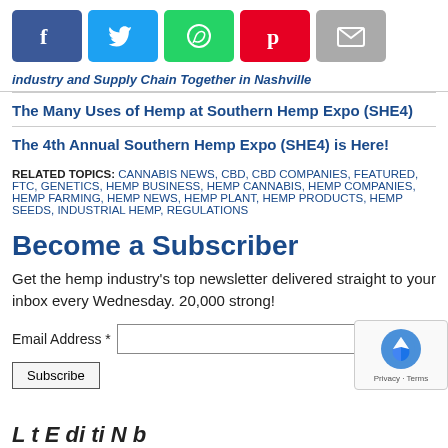[Figure (other): Social sharing buttons: Facebook (blue), Twitter (light blue), WhatsApp (green), Pinterest (red), Email (gray)]
industry and Supply Chain Together in Nashville
The Many Uses of Hemp at Southern Hemp Expo (SHE4)
The 4th Annual Southern Hemp Expo (SHE4) is Here!
RELATED TOPICS: CANNABIS NEWS, CBD, CBD COMPANIES, FEATURED, FTC, GENETICS, HEMP BUSINESS, HEMP CANNABIS, HEMP COMPANIES, HEMP FARMING, HEMP NEWS, HEMP PLANT, HEMP PRODUCTS, HEMP SEEDS, INDUSTRIAL HEMP, REGULATIONS
Become a Subscriber
Get the hemp industry's top newsletter delivered straight to your inbox every Wednesday. 20,000 strong!
Email Address *
Subscribe